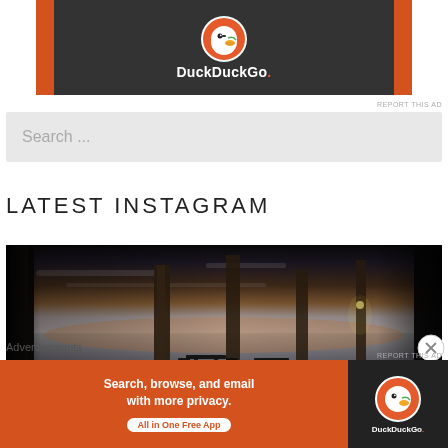[Figure (screenshot): DuckDuckGo advertisement banner showing the DuckDuckGo duck logo and wordmark on a dark background with orange sides]
REPORT THIS AD
Search ...
LATEST INSTAGRAM
[Figure (photo): Outdoor dining area photograph taken from under a structure, showing tables and chairs silhouetted against a twilight waterfront scene with wooden pillars]
Advertisements
[Figure (screenshot): DuckDuckGo advertisement banner: Search, browse, and email with more privacy. All in One Free App. DuckDuckGo logo on dark background.]
REPORT THIS AD